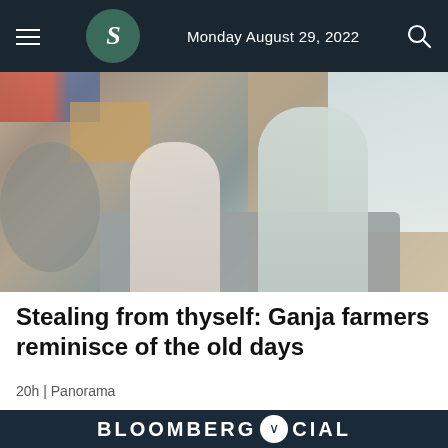Monday August 29, 2022
[Figure (photo): Two elderly bearded men in white kurtas sitting on a sofa inside a small shop or room, with cardboard boxes, a fan, and colorful items visible in the background.]
Stealing from thyself: Ganja farmers reminisce of the old days
20h | Panorama
BLOOMBERG SPECIAL